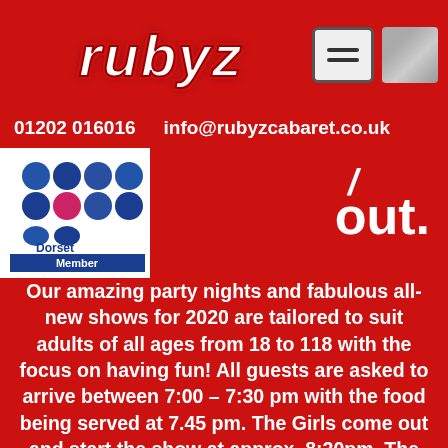[Figure (logo): Rubyz logo in white italic bold text on red background, stylized with shadow effects]
01202 016016   info@rubyzcabaret.co.uk
[Figure (logo): Dorset Chamber Member badge with colorful dot grid pattern and blue Member banner]
out.
Our amazing party nights and fabulous all-new shows for 2020 are tailored to suit adults of all ages from 18 to 118 with the focus on having fun! All guests are asked to arrive between 7:00 – 7:30 pm with the food being served at 7.45 pm. The Girls come out and start the show at approx. 8:20pm. The show is in two